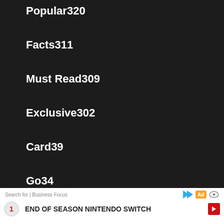Popular320
Facts311
Must Read309
Exclusive302
Card39
Go34
[Figure (logo): Pokemon Fan Club logo: red and white Pokeball icon on the left, 'POKEMON' in gray bold text, 'FAN' in red bold text and 'CLUB' in gray bold text below]
Search for | Business Focus
1  END OF SEASON NINTENDO SWITCH